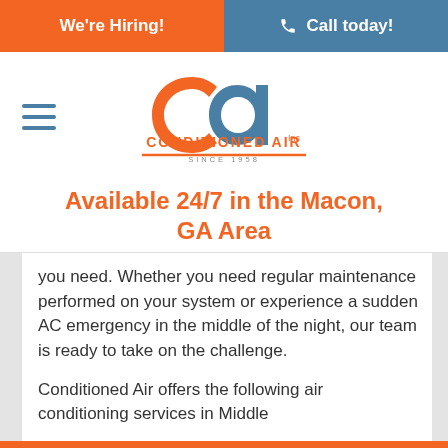We're Hiring! | Call today!
[Figure (logo): Conditioned Air logo — stylized 'ca' monogram in orange/blue with 'CONDITIONED AIR Inc. SINCE 1958' text]
Available 24/7 in the Macon, GA Area
you need. Whether you need regular maintenance performed on your system or experience a sudden AC emergency in the middle of the night, our team is ready to take on the challenge.
Conditioned Air offers the following air conditioning services in Middle
SCHEDULE SERVICE